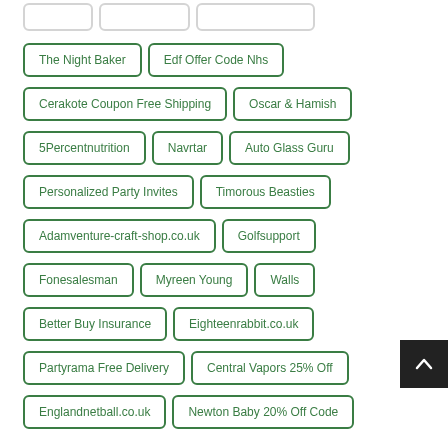The Night Baker
Edf Offer Code Nhs
Cerakote Coupon Free Shipping
Oscar & Hamish
5Percentnutrition
Navrtar
Auto Glass Guru
Personalized Party Invites
Timorous Beasties
Adamventure-craft-shop.co.uk
Golfsupport
Fonesalesman
Myreen Young
Walls
Better Buy Insurance
Eighteenrabbit.co.uk
Partyrama Free Delivery
Central Vapors 25% Off
Englandnetball.co.uk
Newton Baby 20% Off Code